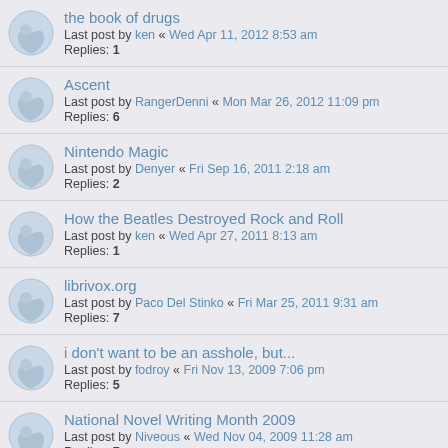the book of drugs
Last post by ken « Wed Apr 11, 2012 8:53 am
Replies: 1
Ascent
Last post by RangerDenni « Mon Mar 26, 2012 11:09 pm
Replies: 6
Nintendo Magic
Last post by Denyer « Fri Sep 16, 2011 2:18 am
Replies: 2
How the Beatles Destroyed Rock and Roll
Last post by ken « Wed Apr 27, 2011 8:13 am
Replies: 1
librivox.org
Last post by Paco Del Stinko « Fri Mar 25, 2011 9:31 am
Replies: 7
i don't want to be an asshole, but...
Last post by fodroy « Fri Nov 13, 2009 7:06 pm
Replies: 5
National Novel Writing Month 2009
Last post by Niveous « Wed Nov 04, 2009 11:28 am
Replies: 7
The World in Six Songs: How the Musical Brain Created